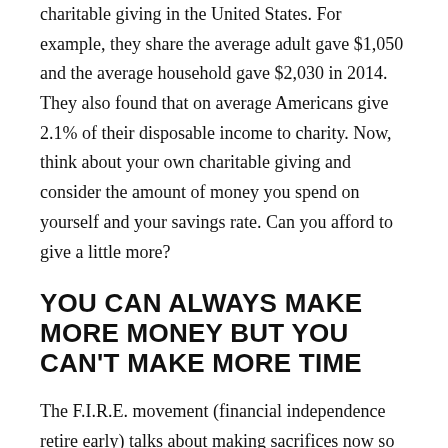charitable giving in the United States. For example, they share the average adult gave $1,050 and the average household gave $2,030 in 2014. They also found that on average Americans give 2.1% of their disposable income to charity. Now, think about your own charitable giving and consider the amount of money you spend on yourself and your savings rate. Can you afford to give a little more?
YOU CAN ALWAYS MAKE MORE MONEY BUT YOU CAN'T MAKE MORE TIME
The F.I.R.E. movement (financial independence retire early) talks about making sacrifices now so you can become financially independent and retire early. You either work a ton to make more money early or